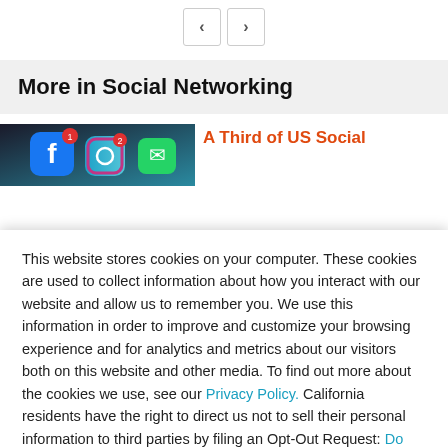[Figure (other): Navigation arrows: left and right chevron buttons]
More in Social Networking
[Figure (photo): Thumbnail photo of a phone showing social media app icons (Facebook, Instagram, etc.)]
A Third of US Social
This website stores cookies on your computer. These cookies are used to collect information about how you interact with our website and allow us to remember you. We use this information in order to improve and customize your browsing experience and for analytics and metrics about our visitors both on this website and other media. To find out more about the cookies we use, see our Privacy Policy. California residents have the right to direct us not to sell their personal information to third parties by filing an Opt-Out Request: Do Not Sell My Personal Info.
Accept